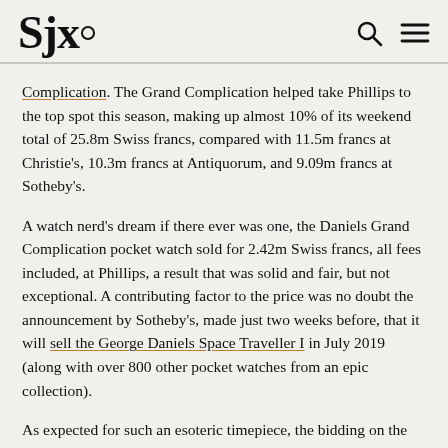SJX.
Complication. The Grand Complication helped take Phillips to the top spot this season, making up almost 10% of its weekend total of 25.8m Swiss francs, compared with 11.5m francs at Christie's, 10.3m francs at Antiquorum, and 9.09m francs at Sotheby's.
A watch nerd's dream if there ever was one, the Daniels Grand Complication pocket watch sold for 2.42m Swiss francs, all fees included, at Phillips, a result that was solid and fair, but not exceptional. A contributing factor to the price was no doubt the announcement by Sotheby's, made just two weeks before, that it will sell the George Daniels Space Traveller I in July 2019 (along with over 800 other pocket watches from an epic collection).
As expected for such an esoteric timepiece, the bidding on the Daniels Grand Complication was concentrated, with only three bidders on it. Two were on the phone, represented by James Marks